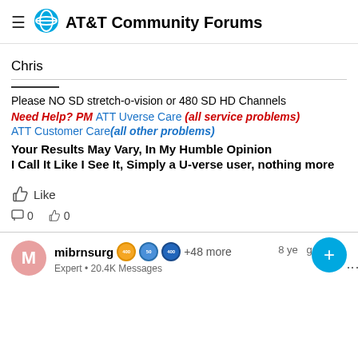AT&T Community Forums
Chris
Please NO SD stretch-o-vision or 480 SD HD Channels
Need Help? PM ATT Uverse Care (all service problems)
ATT Customer Care(all other problems)
Your Results May Vary, In My Humble Opinion
I Call It Like I See It, Simply a U-verse user, nothing more
Like
0  0
mibrnsurg  Expert • 20.4K Messages  +48 more  8 years ago